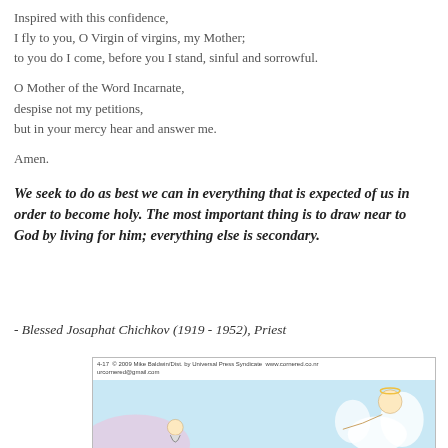Inspired with this confidence,
I fly to you, O Virgin of virgins, my Mother;
to you do I come, before you I stand, sinful and sorrowful.
O Mother of the Word Incarnate,
despise not my petitions,
but in your mercy hear and answer me.
Amen.
We seek to do as best we can in everything that is expected of us in order to become holy. The most important thing is to draw near to God by living for him; everything else is secondary.
- Blessed Josaphat Chichkov (1919 - 1952), Priest
[Figure (illustration): A cartoon strip partially visible, with copyright text reading '4-17 © 2009 Mike Baldwin/Dist. by Universal Press Syndicate www.cornered.co.nr urcornered@gmail.com', showing a cartoon scene with a light blue background and cartoon figures.]